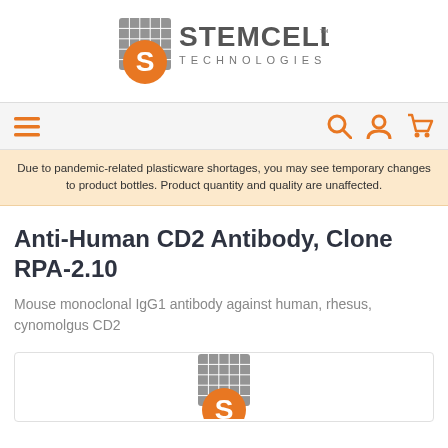[Figure (logo): STEMCELL Technologies logo with orange circular S icon and grid pattern]
[Figure (infographic): Navigation bar with hamburger menu icon on left and search, account, cart icons on right in orange]
Due to pandemic-related plasticware shortages, you may see temporary changes to product bottles. Product quantity and quality are unaffected.
Anti-Human CD2 Antibody, Clone RPA-2.10
Mouse monoclonal IgG1 antibody against human, rhesus, cynomolgus CD2
[Figure (logo): Partial STEMCELL Technologies logo visible at bottom of product image card]